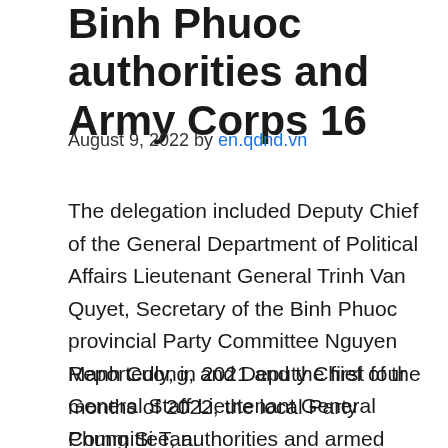Binh Phuoc authorities and Army Corps 16
August 9, 2022 by en.qdnd.vn
The delegation included Deputy Chief of the General Department of Political Affairs Lieutenant General Trinh Van Quyet, Secretary of the Binh Phuoc provincial Party Committee Nguyen Manh Cuong, and Deputy Chief of the General Staff Lieutenant General Phung Si Tan.
Reportedly, in 2021 and the first four months of 2022, the local Party Committee, authorities and armed forces  actively and drastically took measures to put the COVID-19 pandemic under control, and made achievements in socio-economic